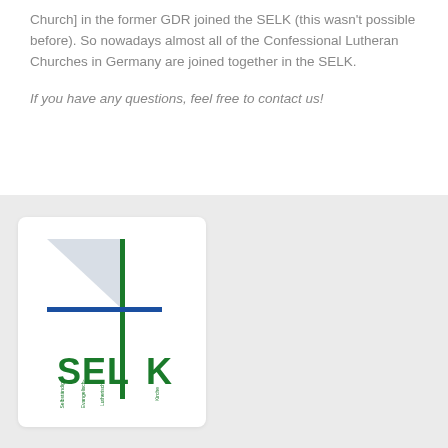Church] in the former GDR joined the SELK (this wasn't possible before). So nowadays almost all of the Confessional Lutheran Churches in Germany are joined together in the SELK.
If you have any questions, feel free to contact us!
[Figure (logo): SELK logo - Selbständige Evangelisch-Lutherische Kirche with cross graphic in green and blue]